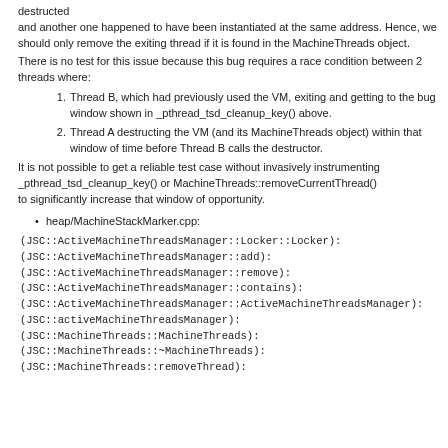destructed
and another one happened to have been instantiated at the same address. Hence, we should only remove the exiting thread if it is found in the MachineThreads object.
There is no test for this issue because this bug requires a race condition between 2 threads where:
1. Thread B, which had previously used the VM, exiting and getting to the bug window shown in _pthread_tsd_cleanup_key() above.
2. Thread A destructing the VM (and its MachineThreads object) within that window of time before Thread B calls the destructor.
It is not possible to get a reliable test case without invasively instrumenting _pthread_tsd_cleanup_key() or MachineThreads::removeCurrentThread()
to significantly increase that window of opportunity.
heap/MachineStackMarker.cpp:
(JSC::ActiveMachineThreadsManager::Locker::Locker):
(JSC::ActiveMachineThreadsManager::add):
(JSC::ActiveMachineThreadsManager::remove):
(JSC::ActiveMachineThreadsManager::contains):
(JSC::ActiveMachineThreadsManager::ActiveMachineThreadsManager):
(JSC::activeMachineThreadsManager):
(JSC::MachineThreads::MachineThreads):
(JSC::MachineThreads::~MachineThreads):
(JSC::MachineThreads::removeThread):